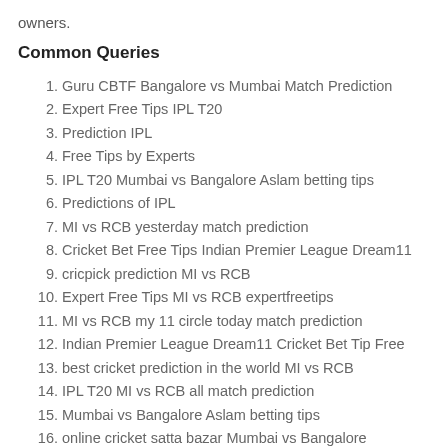owners.
Common Queries
Guru CBTF Bangalore vs Mumbai Match Prediction
Expert Free Tips IPL T20
Prediction IPL
Free Tips by Experts
IPL T20 Mumbai vs Bangalore Aslam betting tips
Predictions of IPL
MI vs RCB yesterday match prediction
Cricket Bet Free Tips Indian Premier League Dream11
cricpick prediction MI vs RCB
Expert Free Tips MI vs RCB expertfreetips
MI vs RCB my 11 circle today match prediction
Indian Premier League Dream11 Cricket Bet Tip Free
best cricket prediction in the world MI vs RCB
IPL T20 MI vs RCB all match prediction
Mumbai vs Bangalore Aslam betting tips
online cricket satta bazar Mumbai vs Bangalore